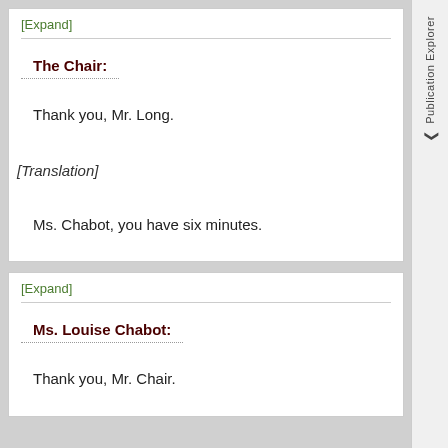[Expand]
The Chair:
Thank you, Mr. Long.
[Translation]
Ms. Chabot, you have six minutes.
[Expand]
Ms. Louise Chabot:
Thank you, Mr. Chair.